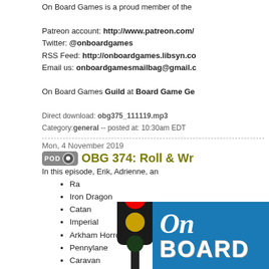On Board Games is a proud member of the
Patreon account: http://www.patreon.com/
Twitter: @onboardgames
RSS Feed: http://onboardgames.libsyn.co
Email us: onboardgamesmailbag@gmail.c
On Board Games Guild at Board Game Ge
Direct download: obg375_111119.mp3
Category: general -- posted at: 10:30am EDT
Mon, 4 November 2019
OBG 374: Roll & Wr
In this episode, Erik, Adrienne, an
Ra
Iron Dragon
Catan
Imperial
Arkham Horror LCG
Pennylane
Caravan
And Kathleen made a game.
[Figure (illustration): On Board Games logo with a traffic stoplight illustration on the left and blue banner with cursive 'On' and bold 'BOARD' text on the right]